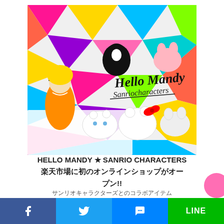[Figure (illustration): Hello Mandy × Sanrio Characters colorful merchandise image with Hello Kitty, Cinnamoroll, Bad Badtz-Maru, My Melody, and other Sanrio characters on a multicolored star background with 'Hello Mandy Sanrio characters' text logo]
HELLO MANDY ★ SANRIO CHARACTERS 楽天市場に初のオンラインショップがオープン!!
サンリオキャラクターズとのコラボアイテム